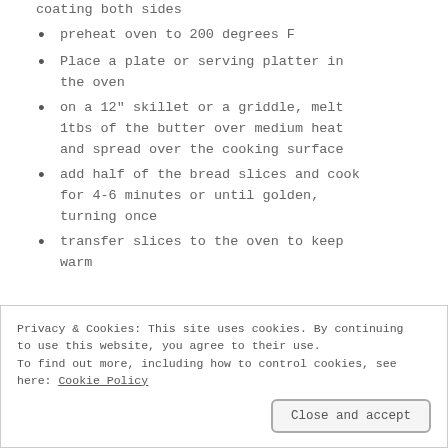coating both sides
preheat oven to 200 degrees F
Place a plate or serving platter in the oven
on a 12" skillet or a griddle, melt 1tbs of the butter over medium heat and spread over the cooking surface
add half of the bread slices and cook for 4-6 minutes or until golden, turning once
transfer slices to the oven to keep warm
Privacy & Cookies: This site uses cookies. By continuing to use this website, you agree to their use. To find out more, including how to control cookies, see here: Cookie Policy
Close and accept